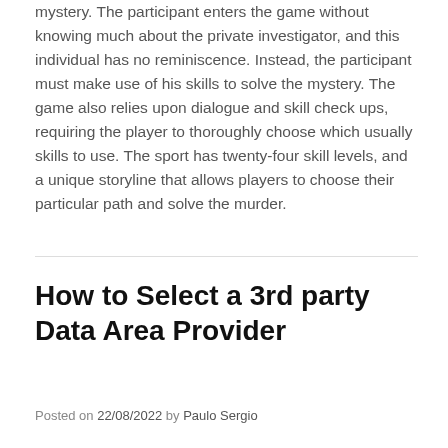mystery. The participant enters the game without knowing much about the private investigator, and this individual has no reminiscence. Instead, the participant must make use of his skills to solve the mystery. The game also relies upon dialogue and skill check ups, requiring the player to thoroughly choose which usually skills to use. The sport has twenty-four skill levels, and a unique storyline that allows players to choose their particular path and solve the murder.
How to Select a 3rd party Data Area Provider
Posted on 22/08/2022 by Paulo Sergio